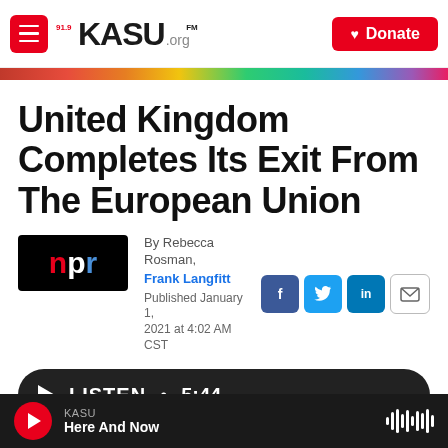91.9FM KASU.ORG | Donate
United Kingdom Completes Its Exit From The European Union
By Rebecca Rosman, Frank Langfitt
Published January 1, 2021 at 4:02 AM CST
LISTEN • 5:44
KASU Here And Now